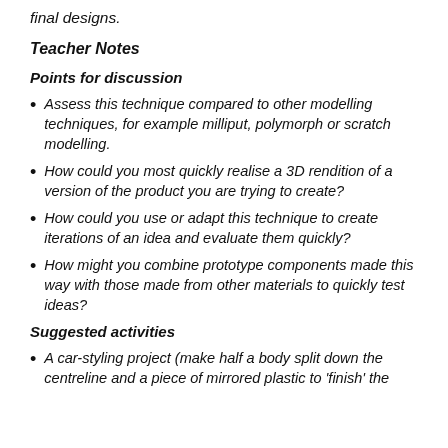final designs.
Teacher Notes
Points for discussion
Assess this technique compared to other modelling techniques, for example milliput, polymorph or scratch modelling.
How could you most quickly realise a 3D rendition of a version of the product you are trying to create?
How could you use or adapt this technique to create iterations of an idea and evaluate them quickly?
How might you combine prototype components made this way with those made from other materials to quickly test ideas?
Suggested activities
A car-styling project (make half a body split down the centreline and a piece of mirrored plastic to 'finish' the